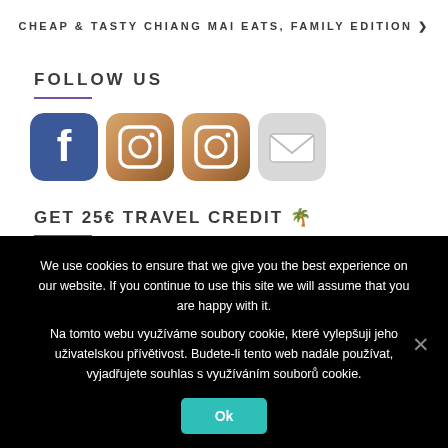CHEAP & TASTY CHIANG MAI EATS, FAMILY EDITION >
FOLLOW US
[Figure (other): Four social media icons: Facebook (blue), Instagram (brown gradient), Instagram (brown gradient), Email (grey envelope)]
GET 25€ TRAVEL CREDIT 🌴
We use cookies to ensure that we give you the best experience on our website. If you continue to use this site we will assume that you are happy with it.
Na tomto webu využíváme soubory cookie, které vylepšuji jeho uživatelskou přívětivost. Budete-li tento web nadále používat, vyjadřujete souhlas s využíváním souborů cookie.